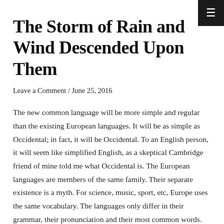The Storm of Rain and Wind Descended Upon Them
Leave a Comment / June 25, 2016
The new common language will be more simple and regular than the existing European languages. It will be as simple as Occidental; in fact, it will be Occidental. To an English person, it will seem like simplified English, as a skeptical Cambridge friend of mine told me what Occidental is. The European languages are members of the same family. Their separate existence is a myth. For science, music, sport, etc, Europe uses the same vocabulary. The languages only differ in their grammar, their pronunciation and their most common words. Everyone realizes why a new common language would be